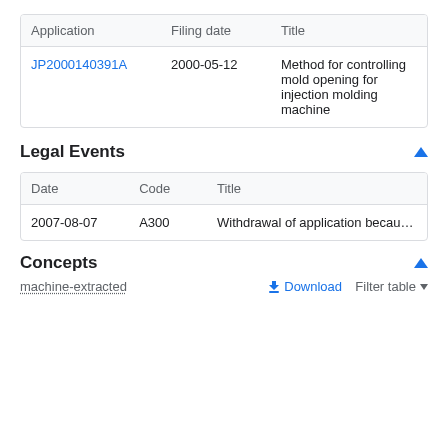| Application | Filing date | Title |
| --- | --- | --- |
| JP2000140391A | 2000-05-12 | Method for controlling mold opening for injection molding machine |
Legal Events
| Date | Code | Title |
| --- | --- | --- |
| 2007-08-07 | A300 | Withdrawal of application because of no requ |
Concepts
machine-extracted